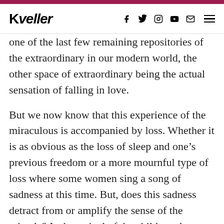Kveller
one of the last few remaining repositories of the extraordinary in our modern world, the other space of extraordinary being the actual sensation of falling in love.
But we now know that this experience of the miraculous is accompanied by loss. Whether it is as obvious as the loss of sleep and one’s previous freedom or a more mournful type of loss where some women sing a song of sadness at this time. But, does this sadness detract from or amplify the sense of the miracle? Is the arrival of the child any less miraculous because a mother might have a sad